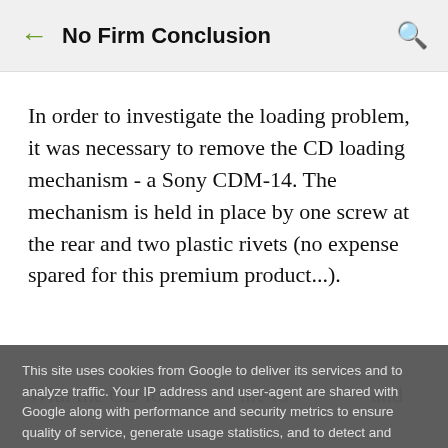← No Firm Conclusion 🔍
In order to investigate the loading problem, it was necessary to remove the CD loading mechanism - a Sony CDM-14. The mechanism is held in place by one screw at the rear and two plastic rivets (no expense spared for this premium product...).
With the CD lo... the lo... and
This site uses cookies from Google to deliver its services and to analyze traffic. Your IP address and user-agent are shared with Google along with performance and security metrics to ensure quality of service, generate usage statistics, and to detect and address abuse.
LEARN MORE   OK